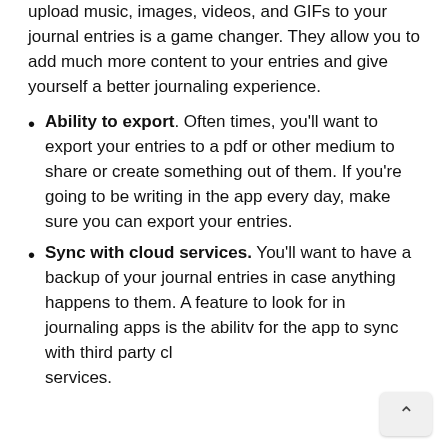upload music, images, videos, and GIFs to your journal entries is a game changer. They allow you to add much more content to your entries and give yourself a better journaling experience.
Ability to export. Often times, you'll want to export your entries to a pdf or other medium to share or create something out of them. If you're going to be writing in the app every day, make sure you can export your entries.
Sync with cloud services. You'll want to have a backup of your journal entries in case anything happens to them. A feature to look for in journaling apps is the ability for the app to sync with third party cl services.